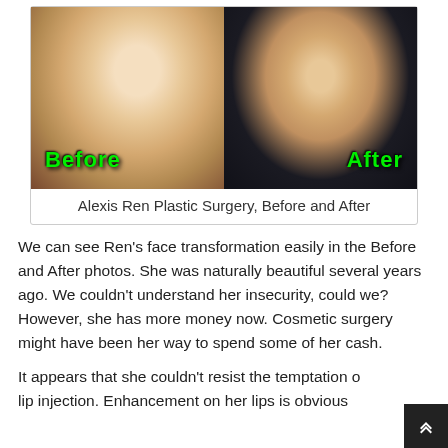[Figure (photo): Side-by-side before and after photos of Alexis Ren. Left shows a blonde girl labeled 'Before', right shows a girl in a black jacket with gold necklaces labeled 'After'.]
Alexis Ren Plastic Surgery, Before and After
We can see Ren's face transformation easily in the Before and After photos. She was naturally beautiful several years ago. We couldn't understand her insecurity, could we? However, she has more money now. Cosmetic surgery might have been her way to spend some of her cash.
It appears that she couldn't resist the temptation of lip injection. Enhancement on her lips is obvious